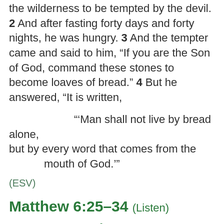the wilderness to be tempted by the devil. 2 And after fasting forty days and forty nights, he was hungry. 3 And the tempter came and said to him, “If you are the Son of God, command these stones to become loaves of bread.” 4 But he answered, “It is written,
“‘Man shall not live by bread alone, but by every word that comes from the mouth of God.’”
(ESV)
Matthew 6:25–34 (Listen)
Do Not Be Anxious